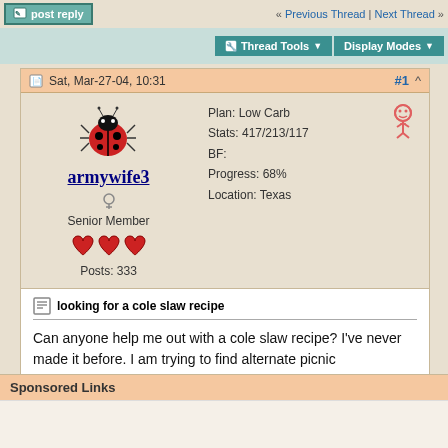« Previous Thread | Next Thread »
Thread Tools ▼  Display Modes ▼
Sat, Mar-27-04, 10:31  #1
armywife3  Senior Member  Posts: 333  Plan: Low Carb  Stats: 417/213/117  BF:  Progress: 68%  Location: Texas
looking for a cole slaw recipe
Can anyone help me out with a cole slaw recipe? I've never made it before. I am trying to find alternate picnic type/barbecue type recipes to serve with the country pork style ribs which are SOOOO GOOD!
Sponsored Links